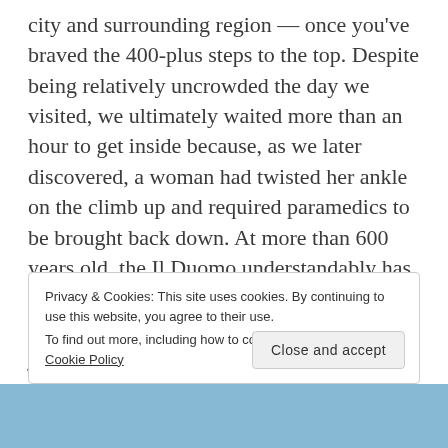city and surrounding region — once you've braved the 400-plus steps to the top. Despite being relatively uncrowded the day we visited, we ultimately waited more than an hour to get inside because, as we later discovered, a woman had twisted her ankle on the climb up and required paramedics to be brought back down. At more than 600 years old, the Il Duomo understandably has no elevators, and its narrow staircase is both the only way up and down, slowing the journey considerably and causing a number of headaches when several young children decided to abandon the climb and throw fits right on the staircase until their parents begrudgingly agreed to fight
Privacy & Cookies: This site uses cookies. By continuing to use this website, you agree to their use.
To find out more, including how to control cookies, see here: Cookie Policy
[Figure (photo): Blue sky/landscape strip visible at the bottom of the page]